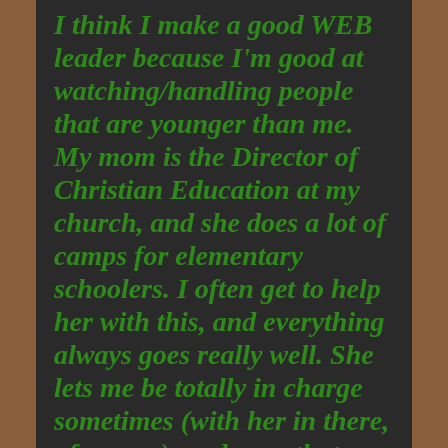I think I make a good WEB leader because I'm good at watching/handling people that are younger than me. My mom is the Director of Christian Education at my church, and she does a lot of camps for elementary schoolers. I often get to help her with this, and everything always goes really well. She lets me be totally in charge sometimes (with her in there, of course), and even that